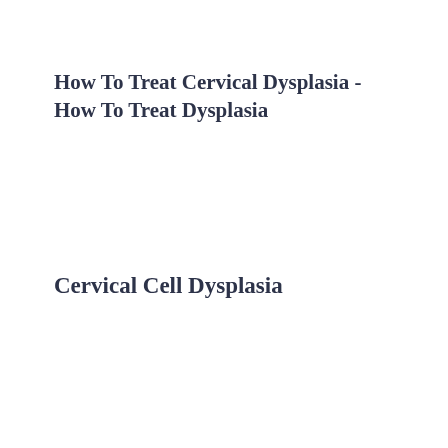How To Treat Cervical Dysplasia - How To Treat Dysplasia
Cervical Cell Dysplasia